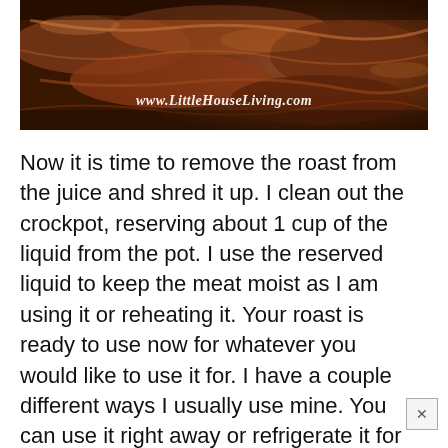[Figure (photo): Close-up photo of shredded roasted meat (pulled pork or beef roast) in a crockpot or pan, with a watermark reading 'www.LittleHouseLiving.com' overlaid in italic white text]
Now it is time to remove the roast from the juice and shred it up. I clean out the crockpot, reserving about 1 cup of the liquid from the pot. I use the reserved liquid to keep the meat moist as I am using it or reheating it. Your roast is ready to use now for whatever you would like to use it for. I have a couple different ways I usually use mine. You can use it right away or refrigerate it for use later that day or the next several days.